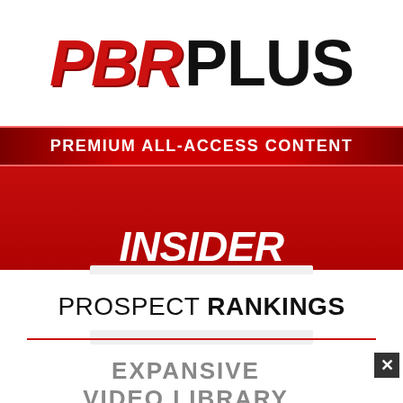PBR PLUS
PREMIUM ALL-ACCESS CONTENT
INSIDER RECRUITING INFORMATION
PROSPECT RANKINGS
EXPANSIVE VIDEO LIBRARY